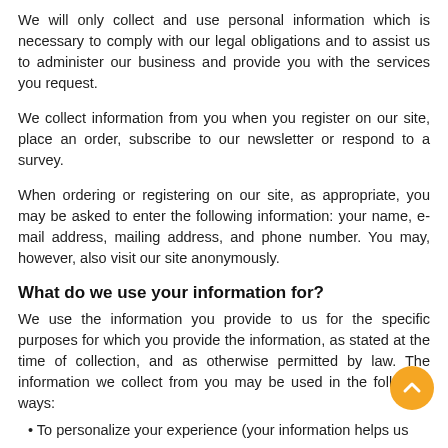We will only collect and use personal information which is necessary to comply with our legal obligations and to assist us to administer our business and provide you with the services you request.
We collect information from you when you register on our site, place an order, subscribe to our newsletter or respond to a survey.
When ordering or registering on our site, as appropriate, you may be asked to enter the following information: your name, e-mail address, mailing address, and phone number. You may, however, also visit our site anonymously.
What do we use your information for?
We use the information you provide to us for the specific purposes for which you provide the information, as stated at the time of collection, and as otherwise permitted by law. The information we collect from you may be used in the following ways:
To personalize your experience (your information helps us